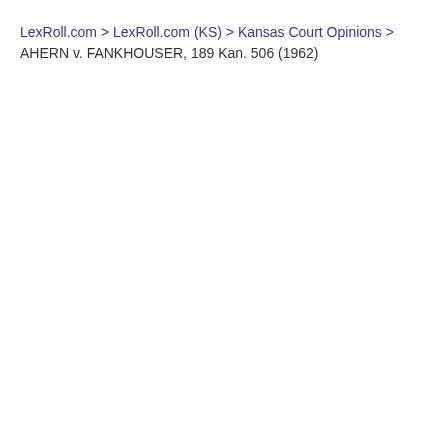LexRoll.com > LexRoll.com (KS) > Kansas Court Opinions > AHERN v. FANKHOUSER, 189 Kan. 506 (1962)
AHERN v. FANKHOUSER, 189 Kan. 506 (1962)